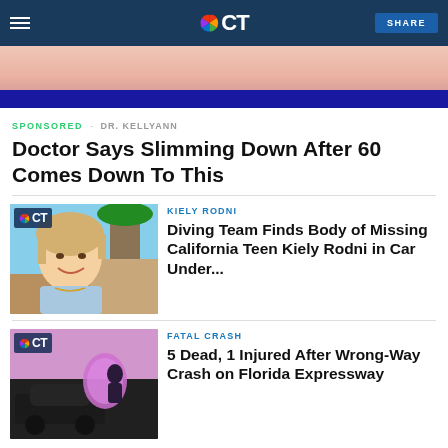NBC CT
[Figure (photo): Hero image showing people in pink/coral outfits with blue banner at bottom]
SPONSORED · DR. KELLYANN
Doctor Says Slimming Down After 60 Comes Down To This
[Figure (photo): Photo of Kiely Rodni, a young blonde teen girl smiling, with NBC CT logo badge]
KIELY RODNI
Diving Team Finds Body of Missing California Teen Kiely Rodni in Car Under...
[Figure (photo): Photo related to fatal crash story with people near car, NBC CT logo badge]
FATAL CRASH
5 Dead, 1 Injured After Wrong-Way Crash on Florida Expressway